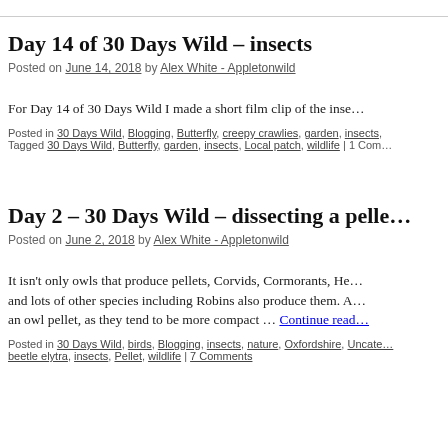Day 14 of 30 Days Wild – insects
Posted on June 14, 2018 by Alex White - Appletonwild
For Day 14 of 30 Days Wild I made a short film clip of the inse…
Posted in 30 Days Wild, Blogging, Butterfly, creepy crawlies, garden, insects, … Tagged 30 Days Wild, Butterfly, garden, insects, Local patch, wildlife | 1 Com…
Day 2 – 30 Days Wild – dissecting a pelle…
Posted on June 2, 2018 by Alex White - Appletonwild
It isn't only owls that produce pellets, Corvids, Cormorants, He… and lots of other species including Robins also produce them. A… an owl pellet, as they tend to be more compact … Continue read…
Posted in 30 Days Wild, birds, Blogging, insects, nature, Oxfordshire, Uncate… beetle elytra, insects, Pellet, wildlife | 7 Comments